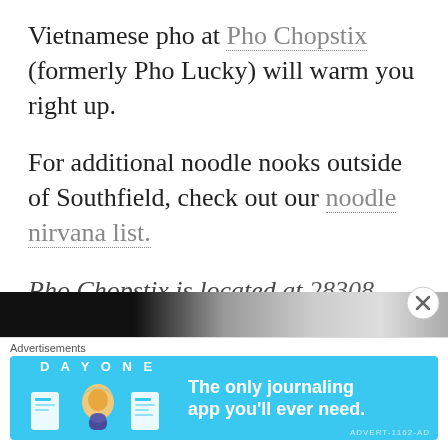Vietnamese pho at Pho Chopstix (formerly Pho Lucky) will warm you right up.
For additional noodle nooks outside of Southfield, check out our noodle nirvana list.
Pho Chopstix is located at 28308 Telegraph Rd, Southfield, MI 48034.
Poke Poke
[Figure (photo): Dark horizontal photo strip at bottom of content area]
Advertisements
[Figure (other): DAY ONE journaling app advertisement banner with blue background, app icons, and text 'The only journaling app you'll ever need.']